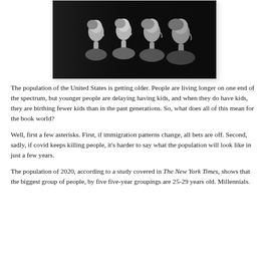[Figure (photo): Black and white photograph of four people (likely female, different ages) in profile view facing right, arranged in a row from youngest to oldest, lit dramatically against a dark background.]
The population of the United States is getting older. People are living longer on one end of the spectrum, but younger people are delaying having kids, and when they do have kids, they are birthing fewer kids than in the past generations. So, what does all of this mean for the book world?
Well, first a few asterisks. First, if immigration patterns change, all bets are off. Second, sadly, if covid keeps killing people, it's harder to say what the population will look like in just a few years.
The population of 2020, according to a study covered in The New York Times, shows that the biggest group of people, by five five-year groupings are 25-29 years old. Millennials.